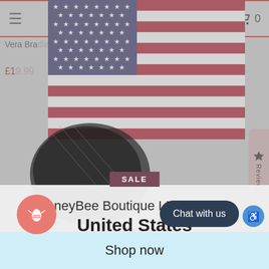[Figure (screenshot): E-commerce website screenshot showing a HoneyBee Boutique LLC page with a US flag modal dialog indicating the store ships to United States, with options to shop in USD and get shipping options. Background shows product listing and navigation bar.]
Vera Bra... in Bedford Rai...
£1...
SALE
HoneyBee Boutique LLC ships to
United States
Shop in USD $
Get shipping options for United States
Chat with us
Shop now
Reviews